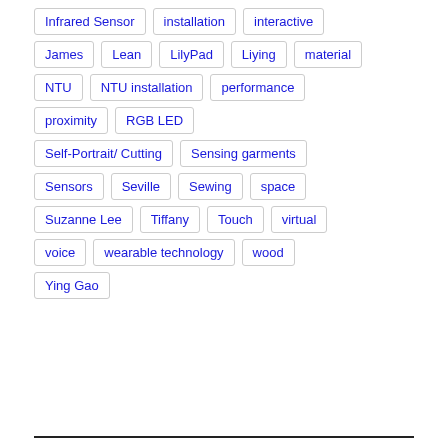Infrared Sensor
installation
interactive
James
Lean
LilyPad
Liying
material
NTU
NTU installation
performance
proximity
RGB LED
Self-Portrait/ Cutting
Sensing garments
Sensors
Seville
Sewing
space
Suzanne Lee
Tiffany
Touch
virtual
voice
wearable technology
wood
Ying Gao